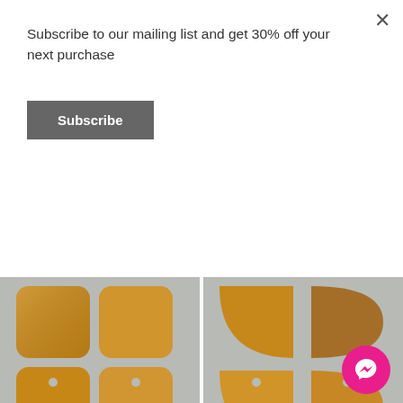Subscribe to our mailing list and get 30% off your next purchase
Subscribe
[Figure (photo): Four copper blanks (rounded rectangle pendants) on gray background, left product photo for #749]
[Figure (photo): Four copper blanks (half-circle/D-shape pendants) on gray background, right product photo for #750]
Abstract
#749 Copper Blanks
8.00$ – 80.00$
6.00$ – 60.00$
Abstract
#750 Copper Bl
8.00$ – 80.00$
6.00$ – 60.00$